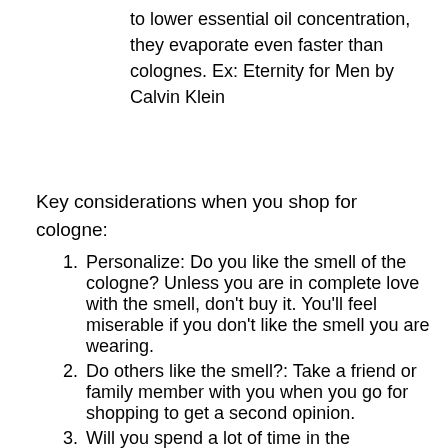to lower essential oil concentration, they evaporate even faster than colognes. Ex: Eternity for Men by Calvin Klein
Key considerations when you shop for cologne:
Personalize: Do you like the smell of the cologne? Unless you are in complete love with the smell, don't buy it. You'll feel miserable if you don't like the smell you are wearing.
Do others like the smell?: Take a friend or family member with you when you go for shopping to get a second opinion.
Will you spend a lot of time in the